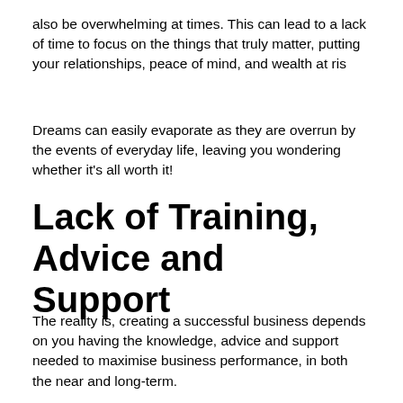also be overwhelming at times. This can lead to a lack of time to focus on the things that truly matter, putting your relationships, peace of mind, and wealth at ris
Dreams can easily evaporate as they are overrun by the events of everyday life, leaving you wondering whether it’s all worth it!
Lack of Training, Advice and Support
The reality is, creating a successful business depends on you having the knowledge, advice and support needed to maximise business performance, in both the near and long-term.
Although business owners possess many skills, they are often not trained in the art and science of business management. Instead, they learn these skills and develop their knowledge as they go. While this is reality, to create a successful business, and maximise its performance,